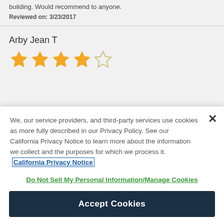building. Would recommend to anyone.
Reviewed on: 3/23/2017
Arby Jean T
[Figure (other): 4 out of 5 stars rating — four filled gold stars and one empty star]
We, our service providers, and third-party services use cookies as more fully described in our Privacy Policy. See our California Privacy Notice to learn more about the information we collect and the purposes for which we process it. California Privacy Notice
Do Not Sell My Personal Information/Manage Cookies
Accept Cookies